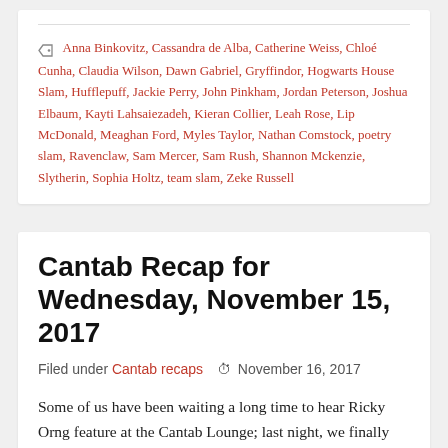Anna Binkovitz, Cassandra de Alba, Catherine Weiss, Chloé Cunha, Claudia Wilson, Dawn Gabriel, Gryffindor, Hogwarts House Slam, Hufflepuff, Jackie Perry, John Pinkham, Jordan Peterson, Joshua Elbaum, Kayti Lahsaiezadeh, Kieran Collier, Leah Rose, Lip McDonald, Meaghan Ford, Myles Taylor, Nathan Comstock, poetry slam, Ravenclaw, Sam Mercer, Sam Rush, Shannon Mckenzie, Slytherin, Sophia Holtz, team slam, Zeke Russell
Cantab Recap for Wednesday, November 15, 2017
Filed under Cantab recaps  November 16, 2017
Some of us have been waiting a long time to hear Ricky Orng feature at the Cantab Lounge; last night, we finally got our wish! Ricky took us through stories of family and food, language and missed connections, and through all of it wound the substantial joy he makes part of his craft. You